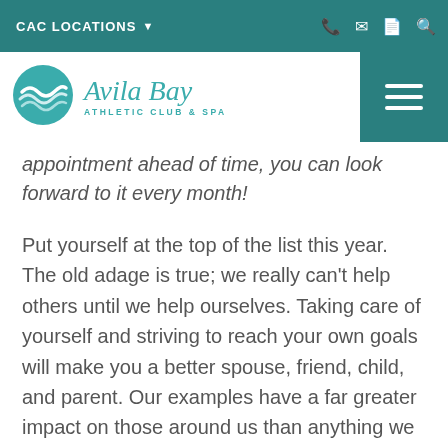CAC LOCATIONS
[Figure (logo): Avila Bay Athletic Club & Spa logo with teal circle and wave design]
appointment ahead of time, you can look forward to it every month!
Put yourself at the top of the list this year. The old adage is true; we really can't help others until we help ourselves. Taking care of yourself and striving to reach your own goals will make you a better spouse, friend, child, and parent. Our examples have a far greater impact on those around us than anything we might say, and taking care of your own health and well-being means you'll be around longer for your loved ones too!